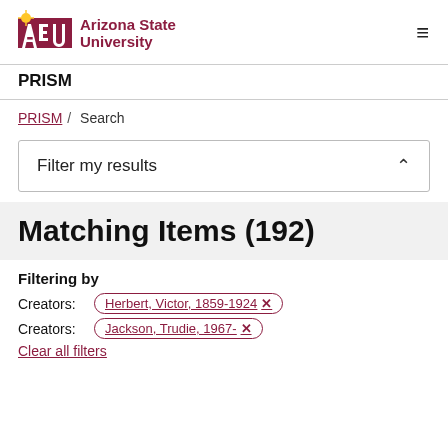ASU Arizona State University — PRISM
PRISM / Search
Filter my results
Matching Items (192)
Filtering by
Creators: Herbert, Victor, 1859-1924 ×
Creators: Jackson, Trudie, 1967- ×
Clear all filters